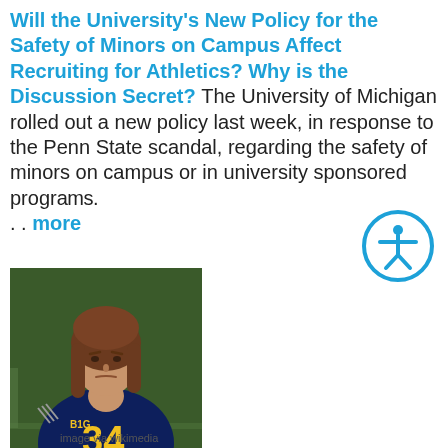Will the University's New Policy for the Safety of Minors on Campus Affect Recruiting for Athletics? Why is the Discussion Secret? The University of Michigan rolled out a new policy last week, in response to the Penn State scandal, regarding the safety of minors on campus or in university sponsored programs. . . more
[Figure (photo): A University of Michigan football player wearing navy blue jersey number 34 with long brown hair, standing on a green turf field.]
image via wikimedia